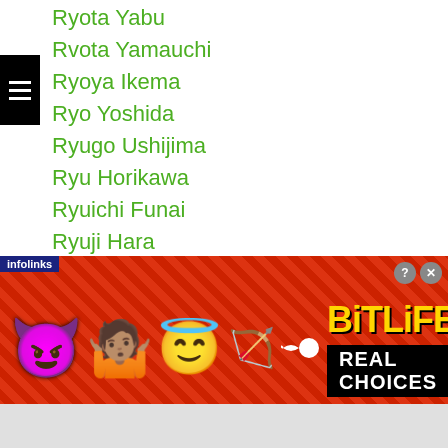Ryota Yabu (truncated at top)
Ryota Yamauchi
Ryoya Ikema
Ryo Yoshida
Ryugo Ushijima
Ryu Horikawa
Ryuichi Funai
Ryuji Hara
Ryuji-hara
Ryuji Ikeda
Ryuji Yokoyama
Ryuki Ishii
Ryuki Sudo
Ryukyu Oho
Ryusei Baba
Ryusei Ishii
Ryusei Kawaura (partially visible)
[Figure (screenshot): BitLife advertisement banner with devil emoji, person emoji, angel emoji, sperm emoji, BitLife logo in yellow, and 'REAL CHOICES' text on black background, with infolinks badge and close buttons]